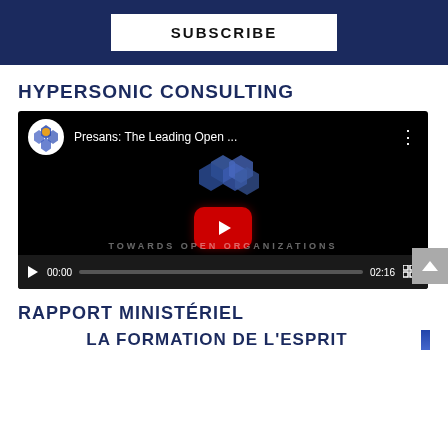[Figure (screenshot): Dark navy blue subscribe bar with a white SUBSCRIBE button centered.]
HYPERSONIC CONSULTING
[Figure (screenshot): YouTube video embed thumbnail showing Presans: The Leading Open ... title, Presans logo with hexagon icons, red YouTube play button in center, PRESANS label, TOWARDS OPEN ORGANIZATIONS text faintly visible, video controls showing 00:00 / 02:16.]
RAPPORT MINISTÉRIEL
LA FORMATION DE L'ESPRIT